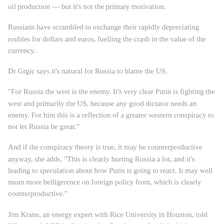oil production — but it's not the primary motivation.
Russians have scrambled to exchange their rapidly depreciating roubles for dollars and euros, fuelling the crash in the value of the currency.
Dr Grgic says it's natural for Russia to blame the US.
“For Russia the west is the enemy. It’s very clear Putin is fighting the west and primarily the US, because any good dictator needs an enemy. For him this is a reflection of a greater western conspiracy to not let Russia be great.”
And if the conspiracy theory is true, it may be counterproductive anyway, she adds. "This is clearly hurting Russia a lot, and it’s leading to speculation about how Putin is going to react. It may well mean more belligerence on foreign policy front, which is clearly counterproductive."
Jim Krane, an energy expert with Rice University in Houston, told US network NPR in October that figuring out Saudi Arabia’s motives was extremely difficult.
“If you’re somebody who looks at geopolitics and